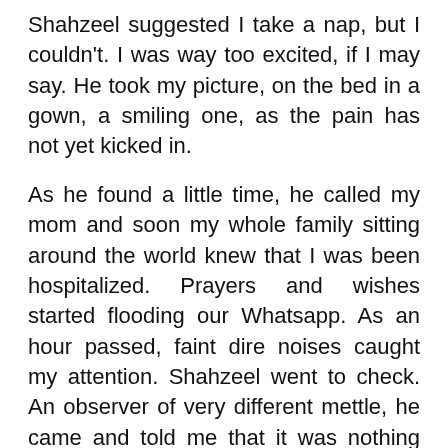Shahzeel suggested I take a nap, but I couldn't. I was way too excited, if I may say. He took my picture, on the bed in a gown, a smiling one, as the pain has not yet kicked in.
As he found a little time, he called my mom and soon my whole family sitting around the world knew that I was been hospitalized. Prayers and wishes started flooding our Whatsapp. As an hour passed, faint dire noises caught my attention. Shahzeel went to check. An observer of very different mettle, he came and told me that it was nothing and that I should catch on my sleep. We were in middle of our conversation when my gynecologist came and notified, “Saumya we will shift you in your private room right away. I don’t know how much time it will take so better if you rest in privacy.”